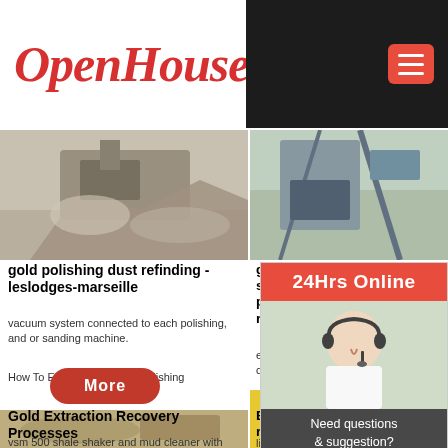OpenHouse
[Figure (screenshot): Hamburger menu icon on dark background]
[Figure (photo): Mining/crushing machinery with gravel and dust]
gold polishing dust refinding - leslodges-marseille
vacuum system connected to each polishing, and or sanding machine.
How To Extract Gold From Polishing
[Figure (photo): Mining equipment and machinery outdoors]
gold recover from born sand, dirt, iron, etc, . polishing dust - razoriteoliveoil
extract gold from polishing dust - cuppen-
[Figure (photo): Aerial view of mining excavation site with yellow machinery]
Gold Extraction Recovery Processes
vsm 500 shale shaker and mud cleaner with different screens
[Figure (photo): Yellow industrial jaw crusher machinery]
Best and Ea... refine gold...
little money... 99.9% puri...
[Figure (photo): Customer service representative woman with headset - 24Hrs Online widget]
Need questions & suggestion?
Chat Now
Enquiry
mumumugoods